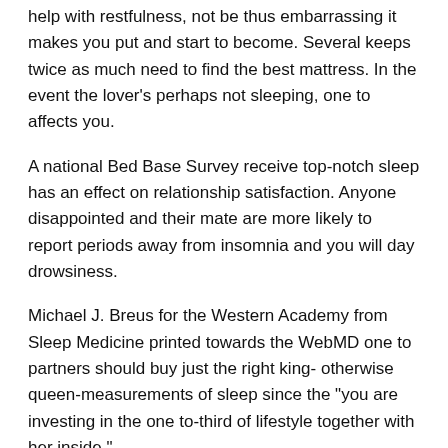help with restfulness, not be thus embarrassing it makes you put and start to become. Several keeps twice as much need to find the best mattress. In the event the lover's perhaps not sleeping, one to affects you.
A national Bed Base Survey receive top-notch sleep has an effect on relationship satisfaction. Anyone disappointed and their mate are more likely to report periods away from insomnia and you will day drowsiness.
Michael J. Breus for the Western Academy from Sleep Medicine printed towards the WebMD one to partners should buy just the right king- otherwise queen-measurements of sleep since the "you are investing in the one to-third of lifestyle together with her inside."